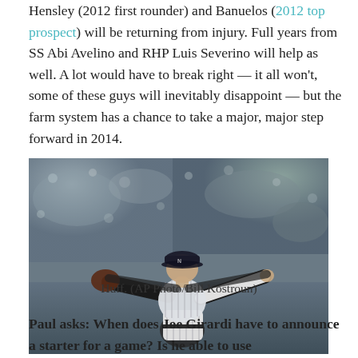Hensley (2012 first rounder) and Banuelos (2012 top prospect) will be returning from injury. Full years from SS Abi Avelino and RHP Luis Severino will help as well. A lot would have to break right — it all won't, some of these guys will inevitably disappoint — but the farm system has a chance to take a major, major step forward in 2014.
[Figure (photo): Baseball pitcher in New York Yankees pinstripe uniform mid-throw on the mound, crowd visible in background. Photo credited to AP Photo/Bill Kostroun.]
Huff. (AP Photo/Bill Kostroun)
Paul asks: When does Joe Girardi have to announce a starter for a game? Is he able to use